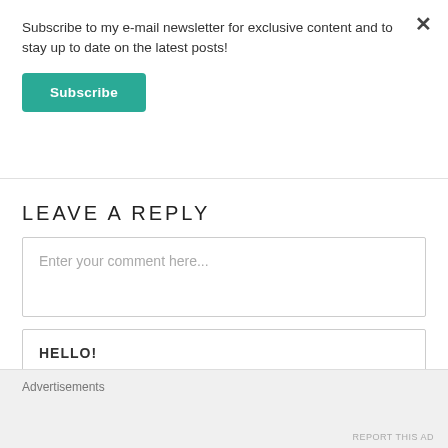Subscribe to my e-mail newsletter for exclusive content and to stay up to date on the latest posts!
Subscribe
LEAVE A REPLY
Enter your comment here...
HELLO!
Advertisements
REPORT THIS AD